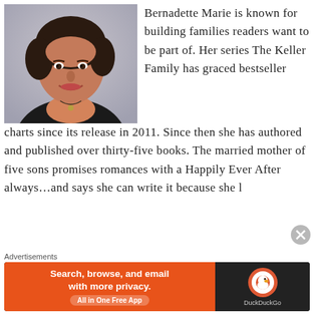[Figure (photo): Headshot of a woman with short dark hair, wearing a black jacket and necklace, smiling, against a light grey background.]
Bernadette Marie is known for building families readers want to be part of. Her series The Keller Family has graced bestseller charts since its release in 2011. Since then she has authored and published over thirty-five books. The married mother of five sons promises romances with a Happily Ever After always…and says she can write it because she l
[Figure (screenshot): DuckDuckGo advertisement banner: orange left panel with text 'Search, browse, and email with more privacy. All in One Free App' and dark right panel with DuckDuckGo logo and text 'DuckDuckGo']